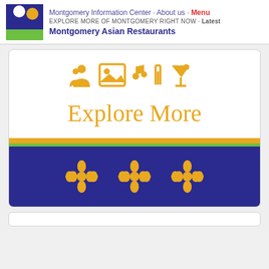Montgomery Information Center · About us · Menu | EXPLORE MORE OF MONTGOMERY RIGHT NOW · Latest | Montgomery Asian Restaurants
[Figure (illustration): Website screenshot showing Explore More section with icons (people, image, music note, utensils, cocktail glass), text 'Explore More', and a blue banner with three decorative flower/mandala icons in gold, with gold and green stripes]
[Figure (illustration): Partial view of another white card at the bottom of the page]